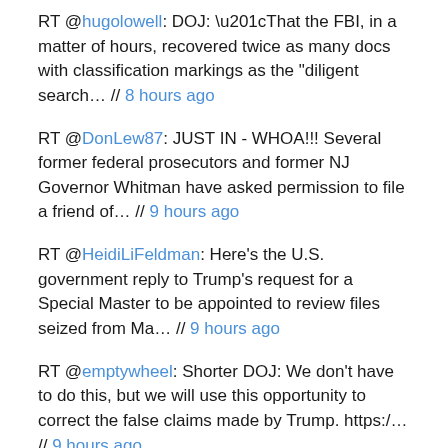RT @hugolowell: DOJ: “That the FBI, in a matter of hours, recovered twice as many docs with classification markings as the "diligent search… // 8 hours ago
RT @DonLew87: JUST IN - WHOA!!! Several former federal prosecutors and former NJ Governor Whitman have asked permission to file a friend of… // 9 hours ago
RT @HeidiLiFeldman: Here’s the U.S. government reply to Trump’s request for a Special Master to be appointed to review files seized from Ma… // 9 hours ago
RT @emptywheel: Shorter DOJ: We don't have to do this, but we will use this opportunity to correct the false claims made by Trump. https:/… // 9 hours ago
RT @petestrzok: That’s a whole lotta redacted compartments after “TOP SECRET” storage.courtlistener.com/recap/gov.usco… https://t.co/YjxtCBHW2F // 9 hours ago
RT @ryeland66: @MuellerSheWrote Some serious shade: "The location of the passports is relevant evidence in an investigation of